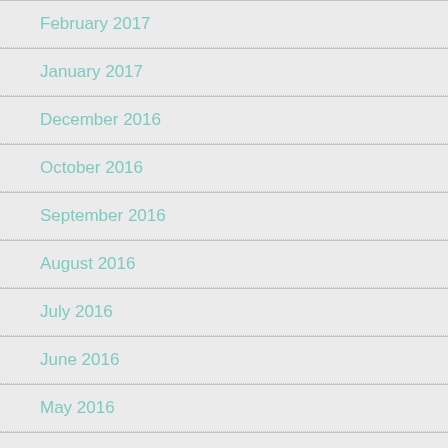February 2017
January 2017
December 2016
October 2016
September 2016
August 2016
July 2016
June 2016
May 2016
April 2016